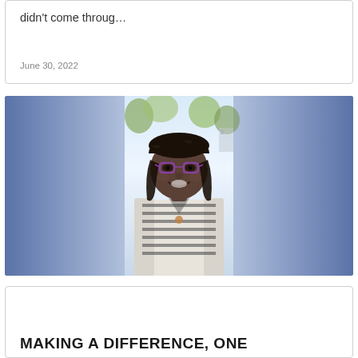didn’t come throug…
June 30, 2022
[Figure (photo): Portrait photo of a smiling woman with braided hair and purple-rimmed glasses, wearing a striped shirt and light cardigan with a pendant necklace, photographed outdoors with a blue gradient background on the sides]
MAKING A DIFFERENCE, ONE